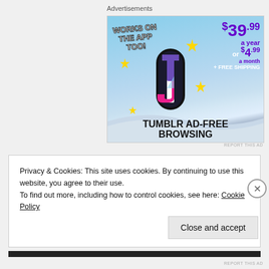Advertisements
[Figure (illustration): Tumblr Ad-Free Browsing advertisement. Sky blue background with Tumblr 't' logo, sparkle stars. Text: WORKS ON THE APP TOO!, $39.99 a year or $4.99 a month + FREE SHIPPING, TUMBLR AD-FREE BROWSING]
REPORT THIS AD
Privacy & Cookies: This site uses cookies. By continuing to use this website, you agree to their use.
To find out more, including how to control cookies, see here: Cookie Policy
Close and accept